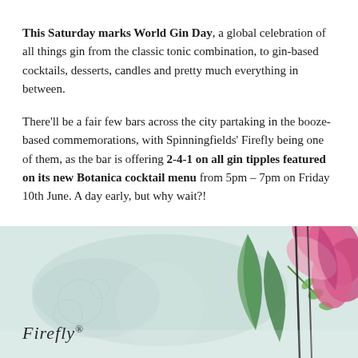This Saturday marks World Gin Day, a global celebration of all things gin from the classic tonic combination, to gin-based cocktails, desserts, candles and pretty much everything in between.
There'll be a fair few bars across the city partaking in the booze-based commemorations, with Spinningfields' Firefly being one of them, as the bar is offering 2-4-1 on all gin tipples featured on its new Botanica cocktail menu from 5pm – 7pm on Friday 10th June. A day early, but why wait?!
[Figure (illustration): Decorative botanical image with pink flowers, green leaves, and the Firefly bar logo in cursive script on a soft watercolor background.]